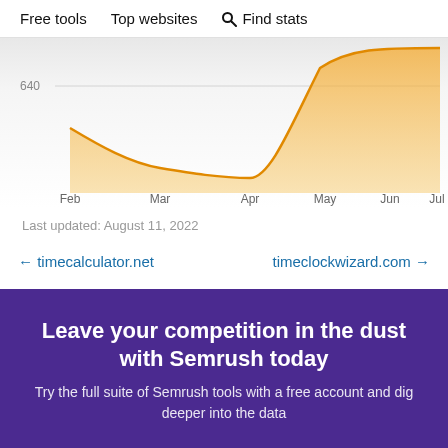Free tools   Top websites   🔍 Find stats
[Figure (area-chart): Area chart showing a value dip from ~640 in February down to a trough around April, then rising sharply through May-July. Orange filled area on white/light gray background.]
Last updated: August 11, 2022
← timecalculator.net   timeclockwizard.com →
Leave your competition in the dust with Semrush today
Try the full suite of Semrush tools with a free account and dig deeper into the data